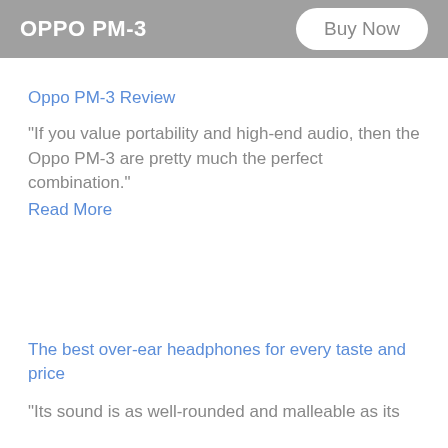OPPO PM-3
Oppo PM-3 Review
"If you value portability and high-end audio, then the Oppo PM-3 are pretty much the perfect combination."
Read More
The best over-ear headphones for every taste and price
"Its sound is as well-rounded and malleable as its